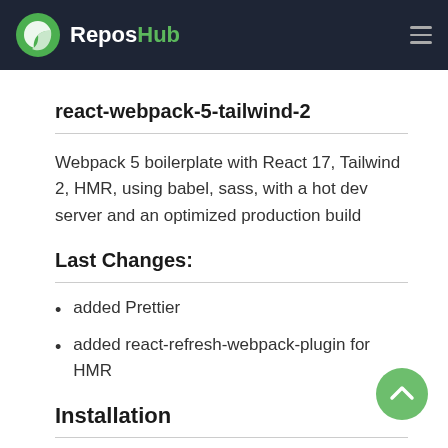ReposHub
react-webpack-5-tailwind-2
Webpack 5 boilerplate with React 17, Tailwind 2, HMR, using babel, sass, with a hot dev server and an optimized production build
Last Changes:
added Prettier
added react-refresh-webpack-plugin for HMR
Installation